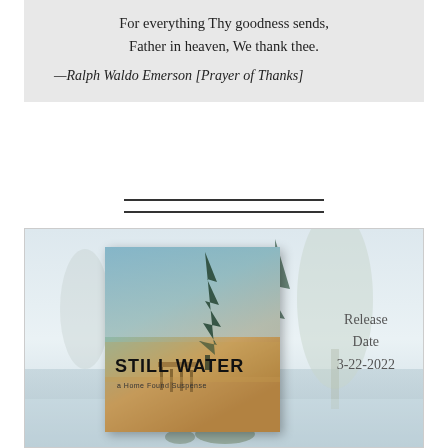For everything Thy goodness sends,
Father in heaven, We thank thee.
—Ralph Waldo Emerson [Prayer of Thanks]
[Figure (illustration): Book promotional image for 'Still Water: a Home Found Suspense' showing a misty lake scene with a dock and trees, alongside text 'Release Date 3-22-2022']